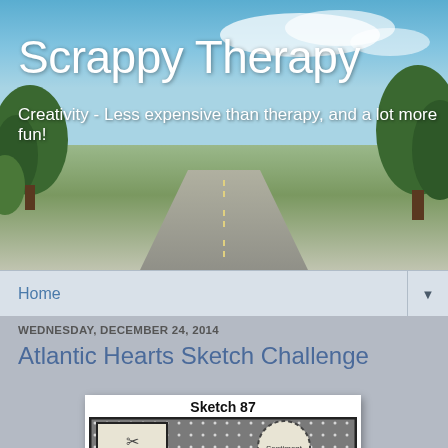Scrappy Therapy
Creativity - Less expensive than therapy, and a lot more fun!
Home
WEDNESDAY, DECEMBER 24, 2014
Atlantic Hearts Sketch Challenge
[Figure (illustration): Sketch 87 card layout template showing a scrapbooking sketch with a left column of three image boxes, a polka-dot background, a sentiment circle badge, and a ribbon element]